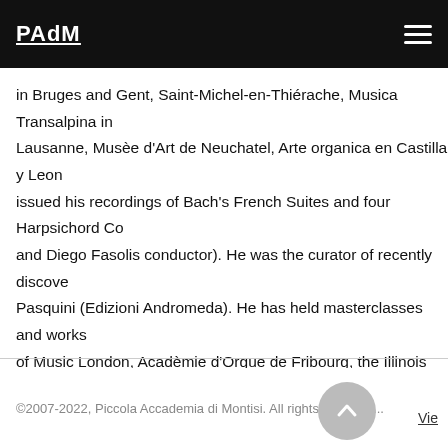PAdM
in Bruges and Gent, Saint-Michel-en-Thiérache, Musica Transalpina in Lausanne, Musèe d'Art de Neuchatel, Arte organica en Castilla y Leon. issued his recordings of Bach's French Suites and four Harpsichord Co and Diego Fasolis conductor). He was the curator of recently discove Pasquini (Edizioni Andromeda). He has held masterclasses and works of Music London, Acadèmie d'Orgue de Fribourg, the Illinois University College. Since 2001 he has been living in Rome where he is appointe Organs for Rome and the Lazio region.
©2007-2022, Piccola Accademia di Montisi. All rights reserved...